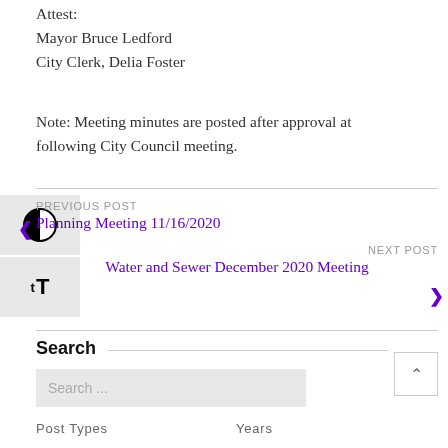Attest:
Mayor Bruce Ledford
City Clerk, Delia Foster
Note: Meeting minutes are posted after approval at following City Council meeting.
PREVIOUS POST
Planning Meeting 11/16/2020
NEXT POST
Water and Sewer December 2020 Meeting
Search
Search...
Post Types
Years